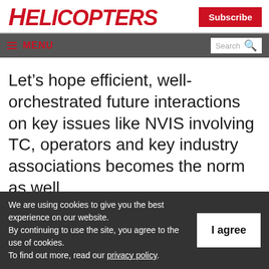HELICOPTERS
Subscribe
MENU  Search
Let’s hope efficient, well-orchestrated future interactions on key issues like NVIS involving TC, operators and key industry associations becomes the norm as well.
We are using cookies to give you the best experience on our website. By continuing to use the site, you agree to the use of cookies. To find out more, read our privacy policy.